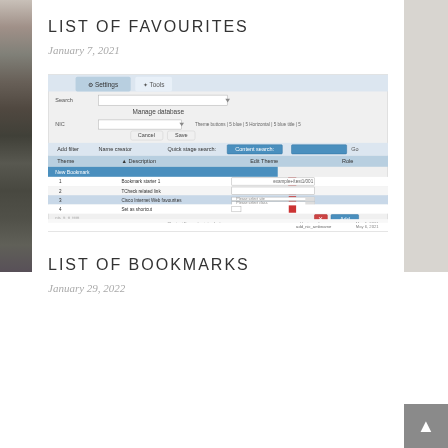LIST OF FAVOURITES
January 7, 2021
[Figure (screenshot): Screenshot of a web application showing a settings/bookmarks management interface with tabs for Settings and Tools, a Manage database section, and a table listing bookmark entries with options to add new bookmarks via a dialog.]
LIST OF BOOKMARKS
January 29, 2022